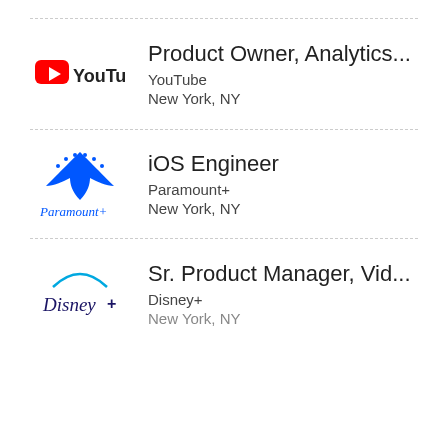Product Owner, Analytics... | YouTube | New York, NY
iOS Engineer | Paramount+ | New York, NY
Sr. Product Manager, Vid... | Disney+ | New York, NY